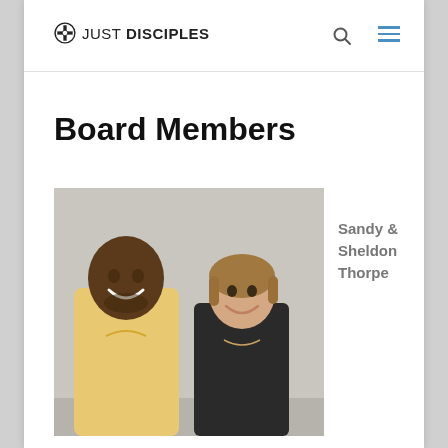JUST DISCIPLES
Board Members
[Figure (photo): Photo of two people smiling against a light gray wall — a man on the left wearing a yellow polo shirt and a woman on the right wearing a dark sleeveless top]
Sandy & Sheldon Thorpe